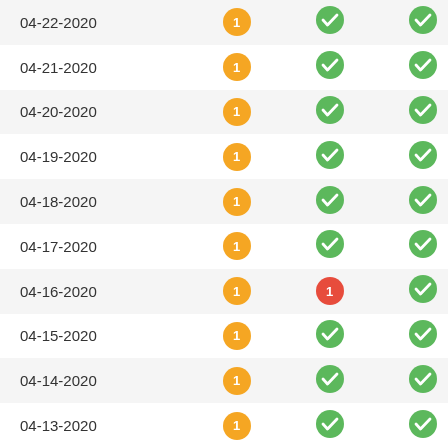| Date | Col2 | Col3 | Col4 |
| --- | --- | --- | --- |
| 04-22-2020 | 1 (orange) | checkmark (green) | checkmark (green) |
| 04-21-2020 | 1 (orange) | checkmark (green) | checkmark (green) |
| 04-20-2020 | 1 (orange) | checkmark (green) | checkmark (green) |
| 04-19-2020 | 1 (orange) | checkmark (green) | checkmark (green) |
| 04-18-2020 | 1 (orange) | checkmark (green) | checkmark (green) |
| 04-17-2020 | 1 (orange) | checkmark (green) | checkmark (green) |
| 04-16-2020 | 1 (orange) | 1 (red) | checkmark (green) |
| 04-15-2020 | 1 (orange) | checkmark (green) | checkmark (green) |
| 04-14-2020 | 1 (orange) | checkmark (green) | checkmark (green) |
| 04-13-2020 | 1 (orange) | checkmark (green) | checkmark (green) |